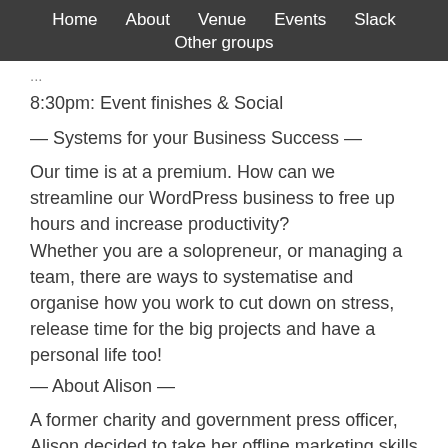Home   About   Venue   Events   Slack   Other groups
8:30pm: Event finishes & Social
— Systems for your Business Success —
Our time is at a premium. How can we streamline our WordPress business to free up hours and increase productivity?
Whether you are a solopreneur, or managing a team, there are ways to systematise and organise how you work to cut down on stress, release time for the big projects and have a personal life too!
— About Alison —
A former charity and government press officer, Alison decided to take her offline marketing skills online and launched two web retail businesses. Once she got them to the top of the search engines she